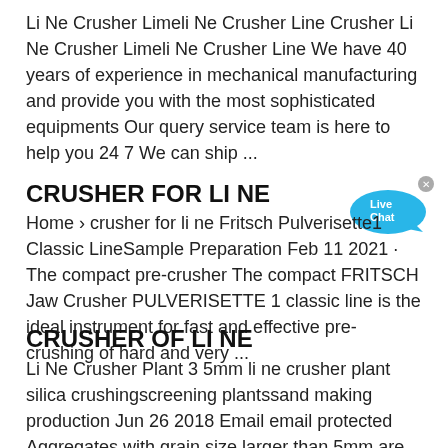Li Ne Crusher Limeli Ne Crusher Line Crusher Li Ne Crusher Limeli Ne Crusher Line We have 40 years of experience in mechanical manufacturing and provide you with the most sophisticated equipments Our query service team is here to help you 24 7 We can ship ...
CRUSHER FOR LI NE
Home › crusher for li ne Fritsch Pulverisette1 Classic LineSample Preparation Feb 11 2021 · The compact pre-crusher The compact FRITSCH Jaw Crusher PULVERISETTE 1 classic line is the ideal instrument for fast and effective pre-crushing of hard and very ...
CRUSHER OF LI NE
Li Ne Crusher Plant 3 5mm li ne crusher plant silica crushingscreening plantssand making production Jun 26 2018 Email email protected Aggregates with grain size larger than 5mm are called coarse aggregates and there are two kinds of gravel and Get price Wood...